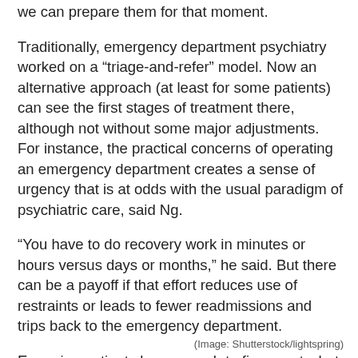we can prepare them for that moment.
Traditionally, emergency department psychiatry worked on a “triage-and-refer” model. Now an alternative approach (at least for some patients) can see the first stages of treatment there, although not without some major adjustments. For instance, the practical concerns of operating an emergency department creates a sense of urgency that is at odds with the usual paradigm of psychiatric care, said Ng.
“You have to do recovery work in minutes or hours versus days or months,” he said. But there can be a payoff if that effort reduces use of restraints or leads to fewer readmissions and trips back to the emergency department.
Engaging patients long enough to figure out what they really want when they approach the hospital may reveal that alternatives like day hospitals, crisis teams, or even phone calls may meet their real needs and cut unnecessary usage.
(Image: Shutterstock/lightspring)